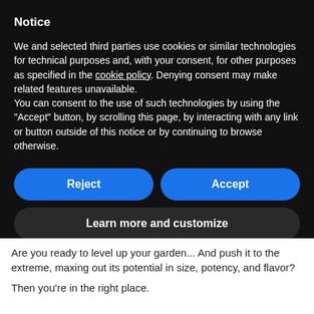Notice
We and selected third parties use cookies or similar technologies for technical purposes and, with your consent, for other purposes as specified in the cookie policy. Denying consent may make related features unavailable.
You can consent to the use of such technologies by using the “Accept” button, by scrolling this page, by interacting with any link or button outside of this notice or by continuing to browse otherwise.
Reject
Accept
Learn more and customize
Are you ready to level up your garden... And push it to the extreme, maxing out its potential in size, potency, and flavor?
Then you’re in the right place.